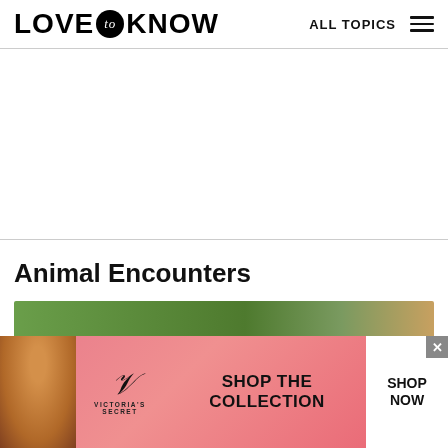LOVE to KNOW | ALL TOPICS
Animal Encounters
[Figure (photo): Preview image of animal encounter scene with green foliage]
[Figure (advertisement): Victoria's Secret advertisement banner with model, logo, SHOP THE COLLECTION text and SHOP NOW button]